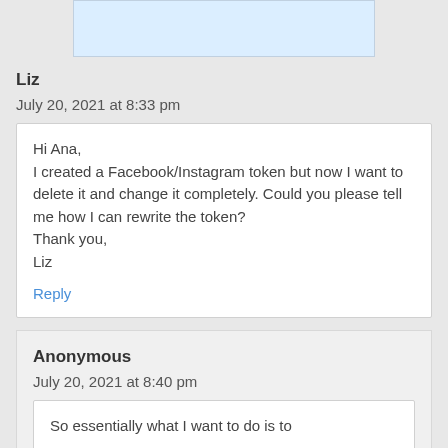Liz
July 20, 2021 at 8:33 pm
Hi Ana,
I created a Facebook/Instagram token but now I want to delete it and change it completely. Could you please tell me how I can rewrite the token?
Thank you,
Liz
Reply
Anonymous
July 20, 2021 at 8:40 pm
So essentially what I want to do is to